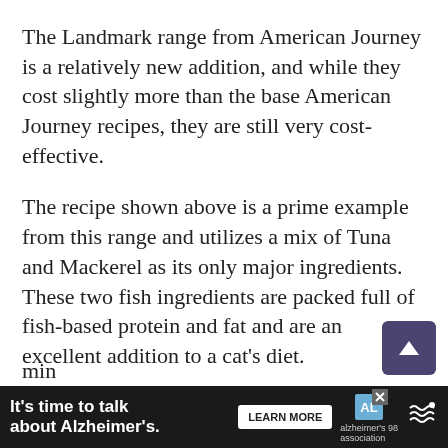The Landmark range from American Journey is a relatively new addition, and while they cost slightly more than the base American Journey recipes, they are still very cost-effective.
The recipe shown above is a prime example from this range and utilizes a mix of Tuna and Mackerel as its only major ingredients. These two fish ingredients are packed full of fish-based protein and fat and are an excellent addition to a cat's diet.
The high proportion of moisture present will ensure this food is easy to consume for those cats with bad teeth, and the lack of plant-based content will min... ...alin...
[Figure (screenshot): Advertisement banner at the bottom: dark background with text 'It's time to talk about Alzheimer's.' with a LEARN MORE button and Alzheimer's Association logo.]